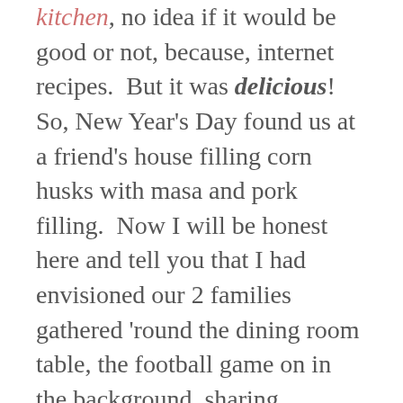kitchen, no idea if it would be good or not, because, internet recipes.  But it was delicious!  So, New Year's Day found us at a friend's house filling corn husks with masa and pork filling.  Now I will be honest here and tell you that I had envisioned our 2 families gathered 'round the dining room table, the football game on in the background, sharing, laughing, etc, you know.  Reality, and really, why did I think it would be any different, was that Younger disappeared to play video games, Older chowed down on chips and salsa, Friend 1 was super intent on his football game, and Friend 2 had her hands full making rice and guacamole, so  just me and Husband made the tamales. I've